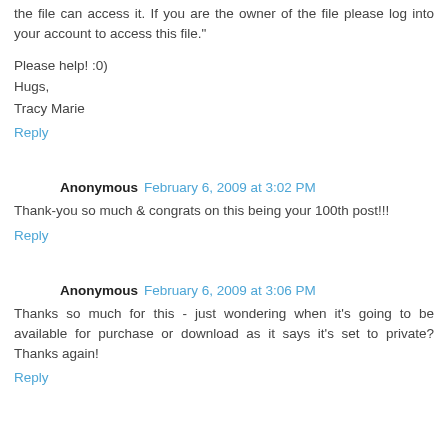the file can access it. If you are the owner of the file please log into your account to access this file."
Please help! :0)
Hugs,
Tracy Marie
Reply
Anonymous  February 6, 2009 at 3:02 PM
Thank-you so much & congrats on this being your 100th post!!!
Reply
Anonymous  February 6, 2009 at 3:06 PM
Thanks so much for this - just wondering when it's going to be available for purchase or download as it says it's set to private? Thanks again!
Reply